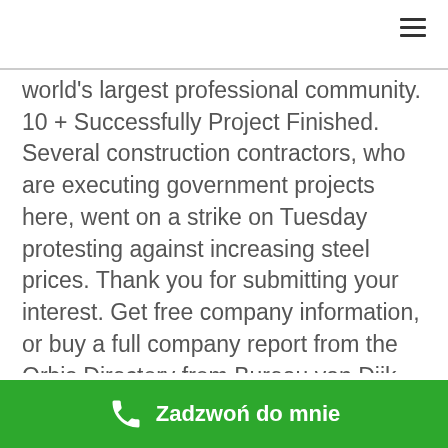[Figure (other): Hamburger menu icon (three horizontal lines) in top-right corner]
world's largest professional community. 10 + Successfully Project Finished. Several construction contractors, who are executing government projects here, went on a strike on Tuesday protesting against increasing steel prices. Thank you for submitting your interest. Get free company information, or buy a full company report from the Orbis Directory from Bureau van Dijk Chemeketa Community College, +1 more. We create our tomorrows by what we dream today. About this route: A direct, nonstop flight between Hong Kong International Airport (HKG), Chek Lap Kok, Hong Kong and Coimbatore International Airport (CJB), Coimbatore, India would travel a Great Circle
Zadzwoń do mnie